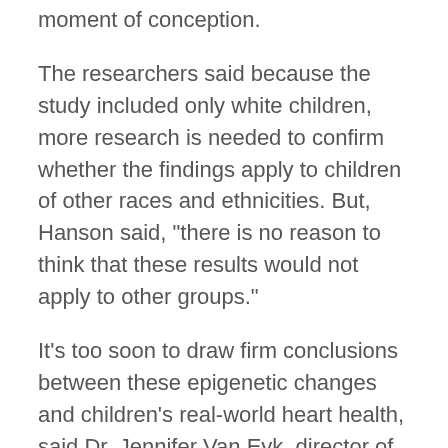moment of conception.
The researchers said because the study included only white children, more research is needed to confirm whether the findings apply to children of other races and ethnicities. But, Hanson said, "there is no reason to think that these results would not apply to other groups."
It's too soon to draw firm conclusions between these epigenetic changes and children's real-world heart health, said Dr. Jennifer Van Eyk, director of the Advanced Clinical Biosystems Institute at Cedars-Sinai Medical Center in Los Angeles. She was not involved in the study.
"The most significant finding is that they correlated specific epigenetic signatures to key health outcomes, and correlations can be important. But